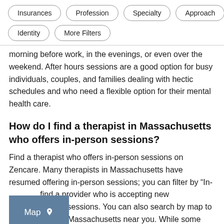Insurances
Profession
Specialty
Approach
Identity
More Filters
morning before work, in the evenings, or even over the weekend. After hours sessions are a good option for busy individuals, couples, and families dealing with hectic schedules and who need a flexible option for their mental health care.
How do I find a therapist in Massachusetts who offers in-person sessions?
Find a therapist who offers in-person sessions on Zencare. Many therapists in Massachusetts have resumed offering in-person sessions; you can filter by “In- find a provider who is accepting new clients e sessions. You can also search by map to find providers in Massachusetts near you. While some clients